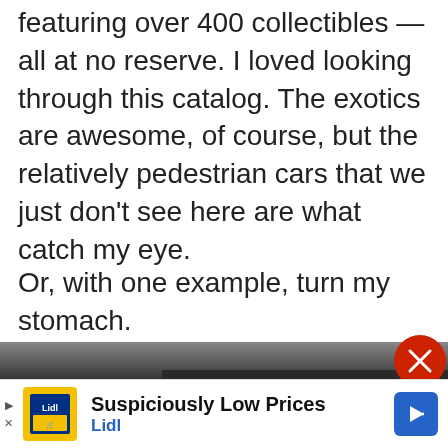featuring over 400 collectibles — all at no reserve. I loved looking through this catalog. The exotics are awesome, of course, but the relatively pedestrian cars that we just don't see here are what catch my eye.
Or, with one example, turn my stomach. Note: I'll be listing all prices in Euro, as the dollar is very close to a 1:1 match currently (1 EUR:1.06 USD at this w… matters for those click… the auction site.
[Figure (screenshot): Embedded video player overlay showing a person standing in front of cars, with a play button. Caption reads: The original Kia Niro was available for one main reason: It could be had as a hybrid, a plug-in...]
[Figure (screenshot): Partial image of a dark car at the bottom of the page]
Suspiciously Low Prices
Lidl